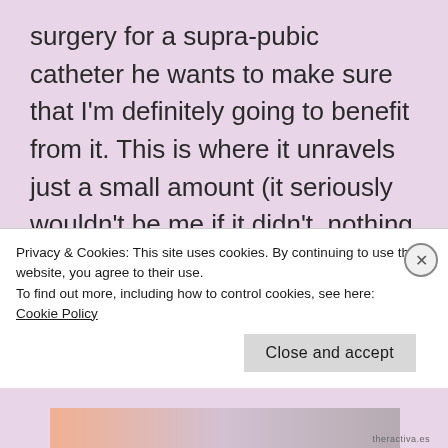surgery for a supra-pubic catheter he wants to make sure that I'm definitely going to benefit from it.  This is where it unravels just a small amount (it seriously wouldn't be me if it didn't, nothing ever goes smoothly with me) because the first phone conversation with the catheter nurses didn't go well.  However the second one, after intervention from my doctor, did and all being well I will have a catheter from Friday.  I wouldn't be honest if I didn't say that although
Privacy & Cookies: This site uses cookies. By continuing to use this website, you agree to their use.
To find out more, including how to control cookies, see here:
Cookie Policy
Close and accept